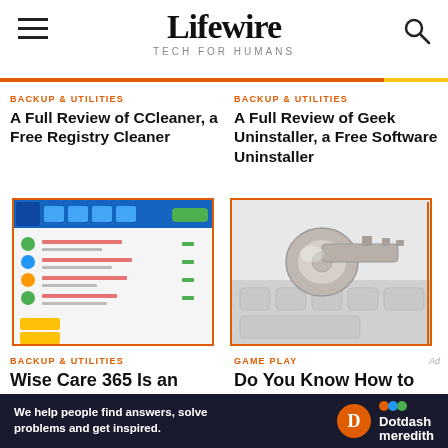Lifewire — TECH FOR HUMANS
BACKUP & UTILITIES
A Full Review of CCleaner, a Free Registry Cleaner
[Figure (screenshot): Screenshot of CCleaner application interface showing registry cleaner results]
BACKUP & UTILITIES
A Full Review of Geek Uninstaller, a Free Software Uninstaller
[Figure (photo): Photo of a silver key resting on a white keyboard]
BACKUP & UTILITIES
Wise Care 365 Is an
GAME PLAY
Do You Know How to
We help people find answers, solve problems and get inspired. Dotdash meredith